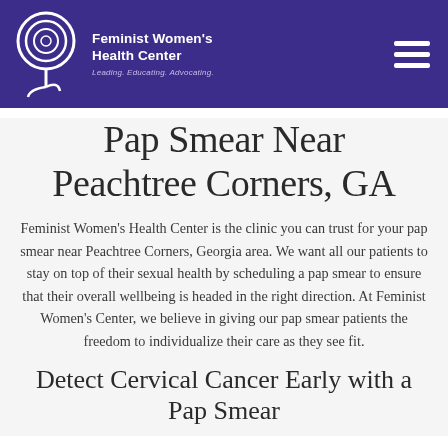Feminist Women's Health Center — Leading. Educating. Advocating.
Pap Smear Near Peachtree Corners, GA
Feminist Women's Health Center is the clinic you can trust for your pap smear near Peachtree Corners, Georgia area. We want all our patients to stay on top of their sexual health by scheduling a pap smear to ensure that their overall wellbeing is headed in the right direction. At Feminist Women's Center, we believe in giving our pap smear patients the freedom to individualize their care as they see fit.
Detect Cervical Cancer Early with a Pap Smear